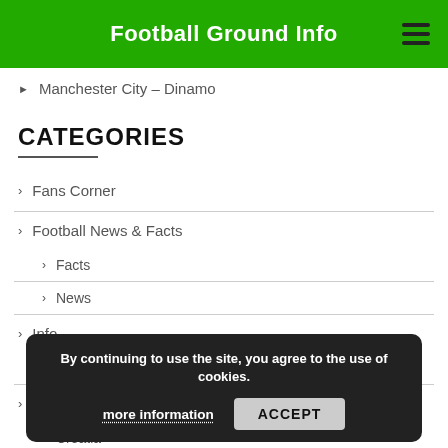Football Ground Info
Manchester City – Dinamo
CATEGORIES
Fans Corner
Football News & Facts
Facts
News
Info
Ac sh name
Other Leagues
Croatia
By continuing to use the site, you agree to the use of cookies.
more information   ACCEPT